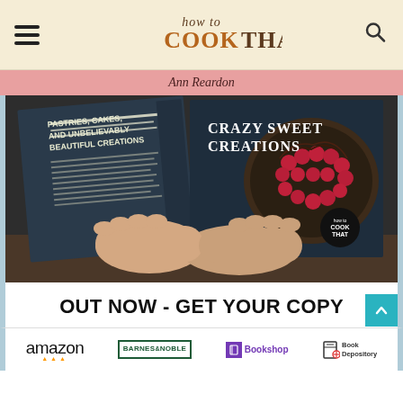how to COOK THAT — Ann Reardon
[Figure (photo): Person holding open a book titled 'Crazy Sweet Creations' with subtitle 'Pastries, Cakes, and Unbelievably Beautiful Creations' by Ann Reardon. The book cover shows a raspberry tart with chocolate decorations. The book spine reads 'Ann Reardon — Crazy Sweet'. A 'how to COOK THAT' logo appears on the book.]
OUT NOW - GET YOUR COPY
amazon   BARNES & NOBLE   Bookshop   Book Depository